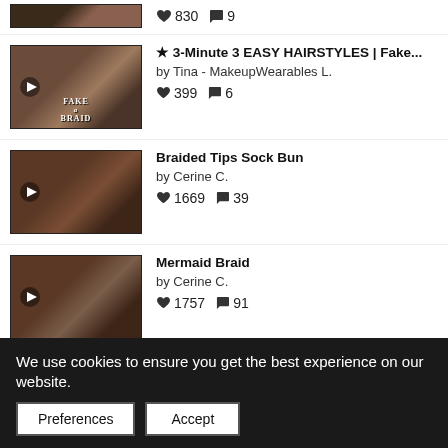♥830 💬9
★ 3-Minute 3 EASY HAIRSTYLES | Fake... by Tina - MakeupWearables L. ♥399 💬6
Braided Tips Sock Bun by Cerine C. ♥1669 💬39
Mermaid Braid by Cerine C. ♥1757 💬91
Tutorial: Curly for Medium Length Hair by ...
We use cookies to ensure you get the best experience on our website.
Preferences  Accept